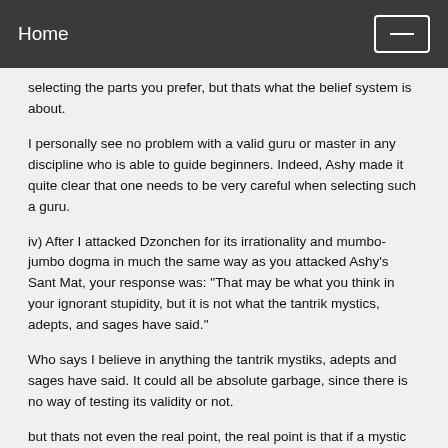Home
selecting the parts you prefer, but thats what the belief system is about.
I personally see no problem with a valid guru or master in any discipline who is able to guide beginners. Indeed, Ashy made it quite clear that one needs to be very careful when selecting such a guru.
iv) After I attacked Dzonchen for its irrationality and mumbo-jumbo dogma in much the same way as you attacked Ashy's Sant Mat, your response was: "That may be what you think in your ignorant stupidity, but it is not what the tantrik mystics, adepts, and sages have said."
Who says I believe in anything the tantrik mystiks, adepts and sages have said. It could all be absolute garbage, since there is no way of testing its validity or not.
but thats not even the real point, the real point is that if a mystic tradition like Sant Mat is just a whole lot of bullshit dogma, please explain how you would distinguish these mystics from others? that is what i mean by selective